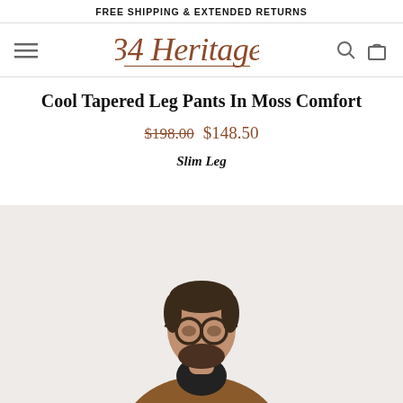FREE SHIPPING & EXTENDED RETURNS
[Figure (logo): 34 Heritage cursive logo in brown/rust color with hamburger menu, search icon, and shopping bag icon]
Cool Tapered Leg Pants In Moss Comfort
$198.00  $148.50
Slim Leg
[Figure (photo): Man with glasses and beard wearing brown cardigan over black shirt, photographed from waist up on light grey background]